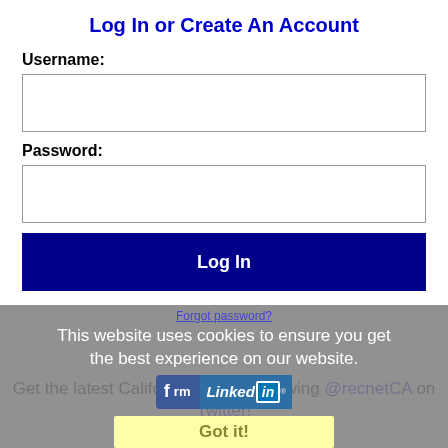Log In or Create An Account
Username:
Password:
Log In
Forgot password?
This website uses cookies to ensure you get the best experience on our website.
[Figure (screenshot): Facebook and LinkedIn social login buttons]
Got it!
Get the latest California jobs by following @recnetCA on Twitter!
Pick up a RSS job feed here...